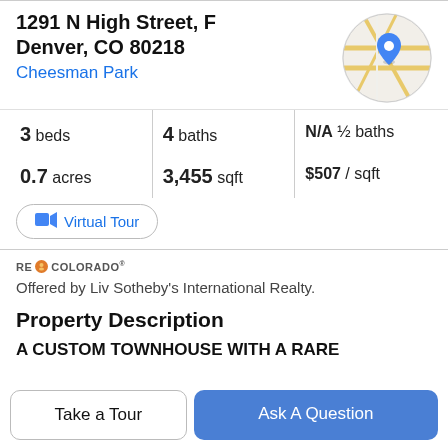1291 N High Street, F
Denver, CO 80218
Cheesman Park
[Figure (map): Circular map thumbnail showing street map with blue location pin marker]
3 beds | 4 baths | N/A ½ baths
0.7 acres | 3,455 sqft | $507 / sqft
Virtual Tour
RE/COLORADO
Offered by Liv Sotheby's International Realty.
Property Description
A CUSTOM TOWNHOUSE WITH A RARE
Take a Tour
Ask A Question